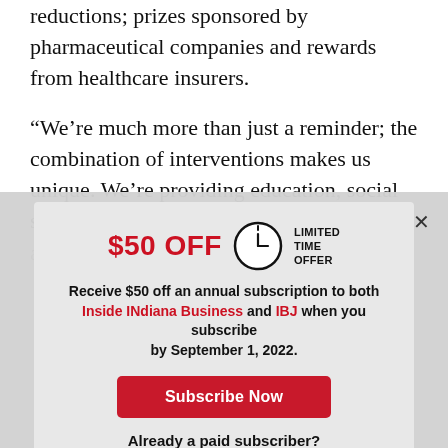reductions; prizes sponsored by pharmaceutical companies and rewards from healthcare insurers.
“We’re much more than just a reminder; the combination of interventions makes us unique. We’re providing education, social support and incentives for patients to think about this differently.
[Figure (infographic): Subscription promotion modal overlay with $50 OFF LIMITED TIME OFFER header, clock icon, subscription offer text for Inside INdiana Business and IBJ, Subscribe Now button, and Log In button.]